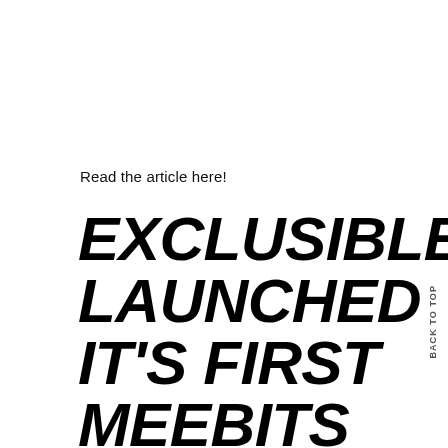Read the article here!
EXCLUSIBLE LAUNCHED IT'S FIRST MEEBITS NFT EXHIBITION !
BACK TO TOP